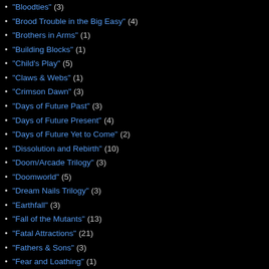"Bloodties" (3)
"Brood Trouble in the Big Easy" (4)
"Brothers in Arms" (1)
"Building Blocks" (1)
"Child's Play" (5)
"Claws & Webs" (1)
"Crimson Dawn" (3)
"Days of Future Past" (3)
"Days of Future Present" (4)
"Days of Future Yet to Come" (2)
"Dissolution and Rebirth" (10)
"Doom/Arcade Trilogy" (3)
"Doomworld" (5)
"Dream Nails Trilogy" (3)
"Earthfall" (3)
"Fall of the Mutants" (13)
"Fatal Attractions" (21)
"Fathers & Sons" (3)
"Fear and Loathing" (1)
"Final Sanction" (2)
"From the Ashes" (3)
"Gene Nation" (7)
"Generation Next" (4)
Posted by Austi
Labels: Retro R
Monday, Ju
Dirty Doz
Alex J. Cavan... "what movies l... your ultimate e... your Dirty Doz...
Here are mine... movies I think... watchability, a...
Read more »
Posted by Austi
Labels: action m
Friday, Jun